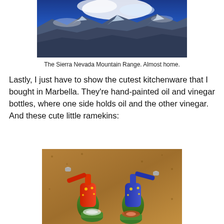[Figure (photo): Aerial/satellite view of the Sierra Nevada Mountain Range from above, showing snow-capped peaks and blue sky/clouds]
The Sierra Nevada Mountain Range. Almost home.
Lastly, I just have to show the cutest kitchenware that I bought in Marbella. They're hand-painted oil and vinegar bottles, where one side holds oil and the other vinegar. And these cute little ramekins:
[Figure (photo): Two colorful hand-painted oil and vinegar bottles (one red and green, one blue and green) with small decorative ramekins in front, on a cork/brown surface]